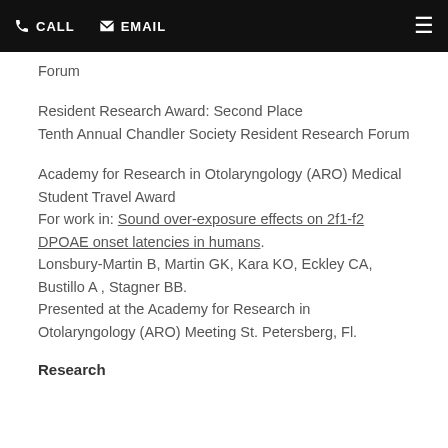CALL   EMAIL
Forum
Resident Research Award: Second Place
Tenth Annual Chandler Society Resident Research Forum
Academy for Research in Otolaryngology (ARO) Medical Student Travel Award
For work in: Sound over-exposure effects on 2f1-f2 DPOAE onset latencies in humans.
Lonsbury-Martin B, Martin GK, Kara KO, Eckley CA, Bustillo A , Stagner BB.
Presented at the Academy for Research in Otolaryngology (ARO) Meeting St. Petersberg, Fl.
Research